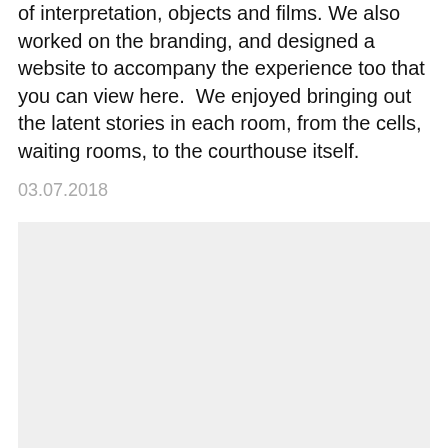of interpretation, objects and films. We also worked on the branding, and designed a website to accompany the experience too that you can view here.  We enjoyed bringing out the latent stories in each room, from the cells, waiting rooms, to the courthouse itself.
03.07.2018
[Figure (photo): A light grey rectangular image placeholder occupying the lower portion of the page.]